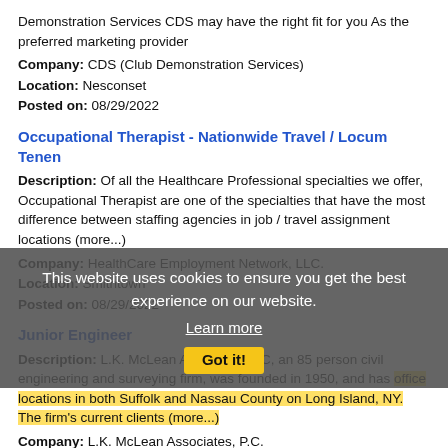Demonstration Services CDS may have the right fit for you As the preferred marketing provider
Company: CDS (Club Demonstration Services)
Location: Nesconset
Posted on: 08/29/2022
Occupational Therapist - Nationwide Travel / Locum Tenen
Description: Of all the Healthcare Professional specialties we offer, Occupational Therapist are one of the specialties that have the most difference between staffing agencies in job / travel assignment locations (more...)
Company: HealthCare Employment Network, LLC.
Location: Smithtown
Posted on: 08/29/2022
Junior Engineer
Description: L.K. McLean Associates, PC, an 85 person civil engineering and surveying firm, was founded in 1950, and has office locations in both Suffolk and Nassau County on Long Island, NY. The firm's current clients (more...)
Company: L.K. McLean Associates, P.C.
Location: Brookhaven
Posted on: 08/29/2022